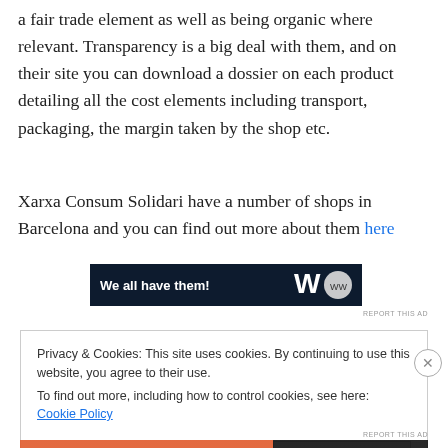a fair trade element as well as being organic where relevant. Transparency is a big deal with them, and on their site you can download a dossier on each product detailing all the cost elements including transport, packaging, the margin taken by the shop etc.
Xarxa Consum Solidari have a number of shops in Barcelona and you can find out more about them here
[Figure (other): Dark navy advertisement banner with white bold text 'We all have them!' and a logo on the right]
REPORT THIS AD
Privacy & Cookies: This site uses cookies. By continuing to use this website, you agree to their use.
To find out more, including how to control cookies, see here: Cookie Policy